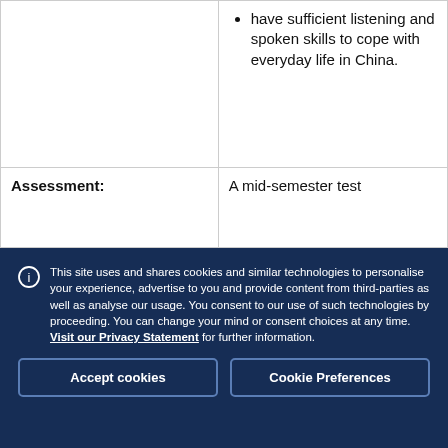|  | have sufficient listening and spoken skills to cope with everyday life in China. |
| Assessment: | A mid-semester test |
This site uses and shares cookies and similar technologies to personalise your experience, advertise to you and provide content from third-parties as well as analyse our usage. You consent to our use of such technologies by proceeding. You can change your mind or consent choices at any time. Visit our Privacy Statement for further information.
Accept cookies
Cookie Preferences